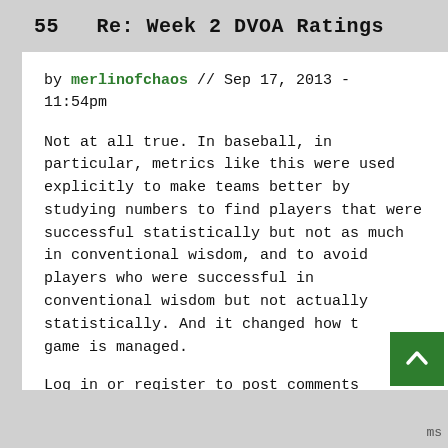55  Re: Week 2 DVOA Ratings
by merlinofchaos // Sep 17, 2013 - 11:54pm
Not at all true. In baseball, in particular, metrics like this were used explicitly to make teams better by studying numbers to find players that were successful statistically but not as much in conventional wisdom, and to avoid players who were successful in conventional wisdom but not actually statistically. And it changed how the game is managed.
Log in or register to post comments